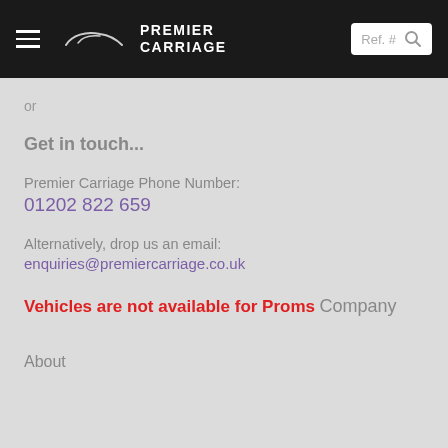PREMIER CARRIAGE — Ref. # [search]
or
Get in touch...
Premier Carriage Phone Number:
01202 822 659
Alternatively, drop us an email:
enquiries@premiercarriage.co.uk
Vehicles are not available for Proms
Company
About